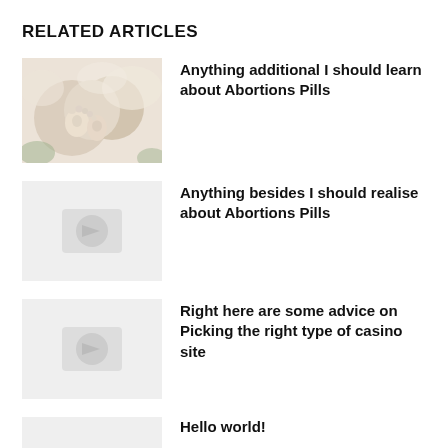RELATED ARTICLES
[Figure (photo): Baby feet and hands, newborn, soft white background]
Anything additional I should learn about Abortions Pills
[Figure (photo): Placeholder light gray image]
Anything besides I should realise about Abortions Pills
[Figure (photo): Placeholder light gray image]
Right here are some advice on Picking the right type of casino site
[Figure (photo): Placeholder light gray image]
Hello world!